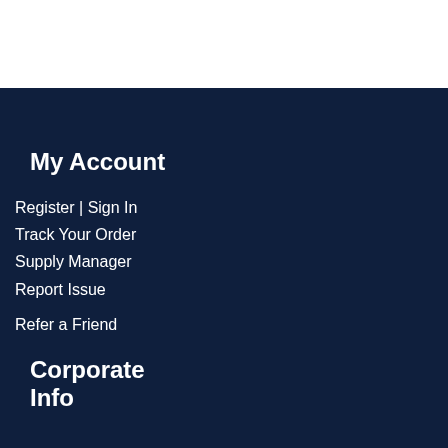My Account
Register | Sign In
Track Your Order
Supply Manager
Report Issue
Refer a Friend
Corporate Info